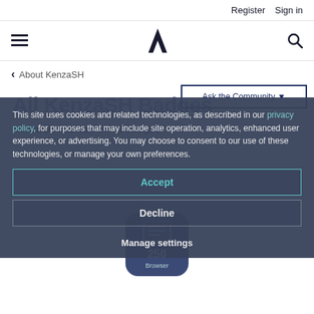Register  Sign in
[Figure (logo): Hamburger menu icon, stylized A logo, search icon navigation bar]
< About KenzaSH
Ask the Community ▾
All KenzaSH Badges
KenzaSH has earned 11 badges!
This site uses cookies and related technologies, as described in our privacy policy, for purposes that may include site operation, analytics, enhanced user experience, or advertising. You may choose to consent to our use of these technologies, or manage your own preferences.
Accept
Decline
Manage settings
[Figure (illustration): Dark navy badge icon with book/reader symbol and number 250, labeled Browser]